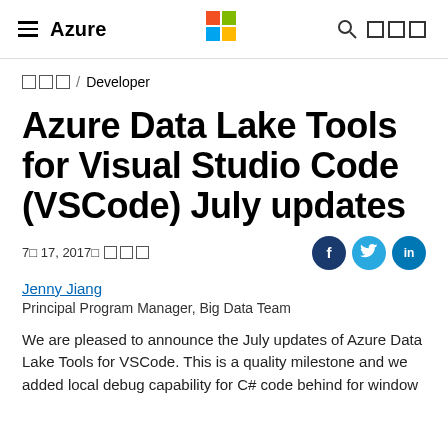Azure
□□□ / Developer
Azure Data Lake Tools for Visual Studio Code (VSCode) July updates
7□ 17, 2017□ □□□
Jenny Jiang
Principal Program Manager, Big Data Team
We are pleased to announce the July updates of Azure Data Lake Tools for VSCode. This is a quality milestone and we added local debug capability for C# code behind for window